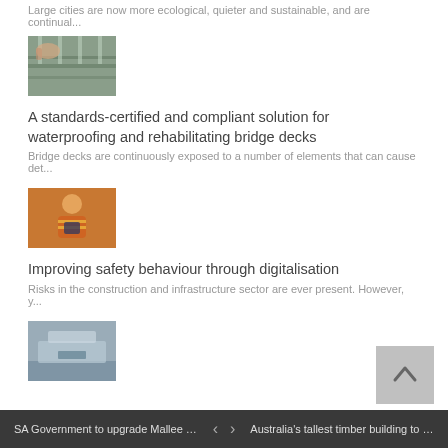Large cities are now more ecological, quieter and sustainable, and are continual...
[Figure (photo): Thumbnail photo of bridge/waterproofing work]
A standards-certified and compliant solution for waterproofing and rehabilitating bridge decks
Bridge decks are continuously exposed to a number of elements that can cause det...
[Figure (photo): Thumbnail photo of worker in orange safety gear]
Improving safety behaviour through digitalisation
Risks in the construction and infrastructure sector are ever present. However, y...
[Figure (photo): Thumbnail photo of sealant/construction materials]
How do you choose a sealant that is fit for purpose?
When choosing a sealant that is fit for purpose, achieving the right movement ca...
[Figure (photo): Thumbnail photo of marine/lubricant related image]
Speciality lubricants and grease for marine use: sustainable, non-toxic, biodegradable
Meeting environmental responsibilities is a crucial element of responsible tra...
SA Government to upgrade Mallee roads   <   >   Australia's tallest timber building to be c...